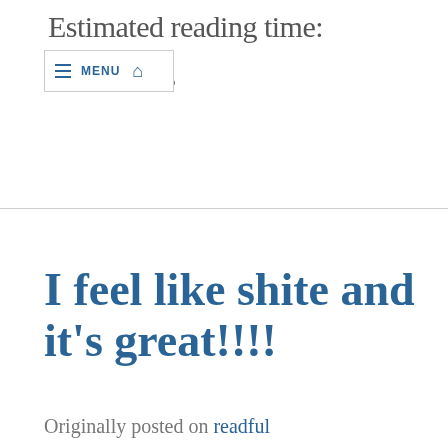Estimated reading time:
19 seconds
[Figure (other): Navigation bar with hamburger menu icon, MENU text, and home icon]
I feel like shite and it's great!!!!
Originally posted on readful things.blog